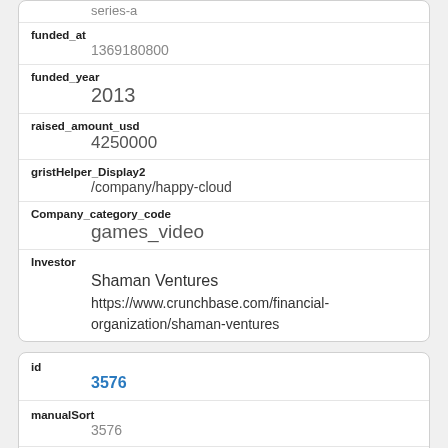| Field | Value |
| --- | --- |
| series-a |  |
| funded_at | 1369180800 |
| funded_year | 2013 |
| raised_amount_usd | 4250000 |
| gristHelper_Display2 | /company/happy-cloud |
| Company_category_code | games_video |
| Investor | Shaman Ventures
https://www.crunchbase.com/financial-organization/shaman-ventures |
| Field | Value |
| --- | --- |
| id | 3576 |
| manualSort | 3576 |